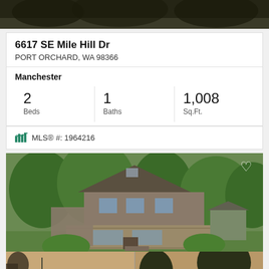[Figure (photo): Top dark strip photo of property exterior]
6617 SE Mile Hill Dr
PORT ORCHARD, WA 98366
Manchester
2 Beds
1 Baths
1,008 Sq.Ft.
MLS® #: 1964216
[Figure (photo): Main exterior photo of two-story house surrounded by green trees with deck, and two smaller photos below: water/sunset view on left, tree silhouette at dusk on right]